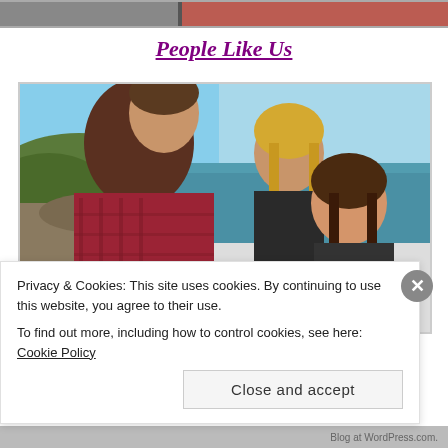[Figure (photo): Partial top strip showing a cropped image, possibly a previous movie/article image with red and dark tones]
People Like Us
[Figure (photo): Three people (two adults and a child/teenager) standing near a rocky coastline with blue sky and sea in the background. Man in red plaid shirt on the left, blonde woman in center, younger brunette in front right.]
Privacy & Cookies: This site uses cookies. By continuing to use this website, you agree to their use.
To find out more, including how to control cookies, see here: Cookie Policy
Close and accept